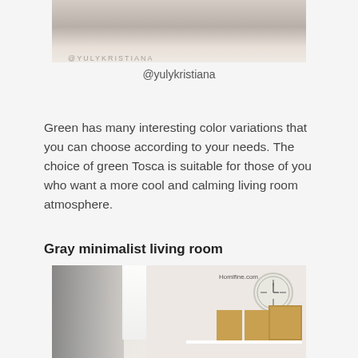[Figure (photo): Top portion of a room photo showing floor/furniture with @YULYKRISTIANA watermark overlay]
@yulykristiana
Green has many interesting color variations that you can choose according to your needs. The choice of green Tosca is suitable for those of you who want a more cool and calming living room atmosphere.
Gray minimalist living room
[Figure (photo): Gray minimalist living room with gray striped curtains on the left, large window with natural light, and a wall on the right with a decorative clock, white floating shelf holding framed pictures. Homifine.com watermark visible.]